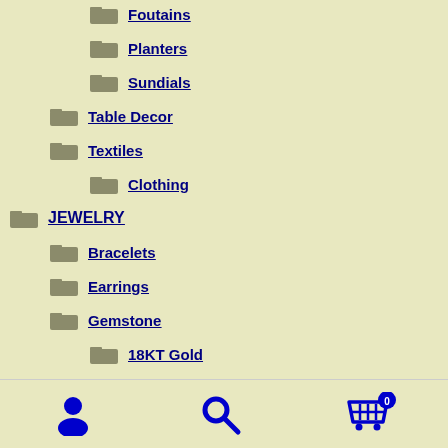Foutains
Planters
Sundials
Table Decor
Textiles
Clothing
JEWELRY
Bracelets
Earrings
Gemstone
18KT Gold
Carnelian
[Figure (infographic): Bottom navigation bar with user account icon, search icon, and shopping cart icon with badge showing 0]